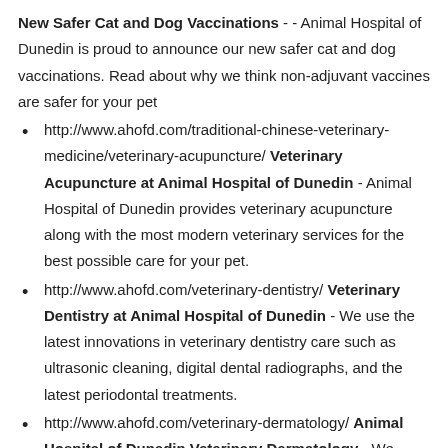New Safer Cat and Dog Vaccinations - - Animal Hospital of Dunedin is proud to announce our new safer cat and dog vaccinations. Read about why we think non-adjuvant vaccines are safer for your pet
http://www.ahofd.com/traditional-chinese-veterinary-medicine/veterinary-acupuncture/ Veterinary Acupuncture at Animal Hospital of Dunedin - Animal Hospital of Dunedin provides veterinary acupuncture along with the most modern veterinary services for the best possible care for your pet.
http://www.ahofd.com/veterinary-dentistry/ Veterinary Dentistry at Animal Hospital of Dunedin - We use the latest innovations in veterinary dentistry care such as ultrasonic cleaning, digital dental radiographs, and the latest periodontal treatments.
http://www.ahofd.com/veterinary-dermatology/ Animal Hospital of Dunedin Veterinary Dermatology - We select from a wide range of tools or services available in veterinary dermatology for treating your pet's lumps,